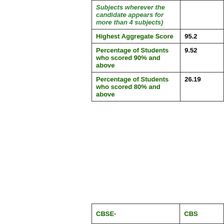| Category | Value |
| --- | --- |
| Subjects wherever the candidate appears for more than 4 subjects) |  |
| Highest Aggregate Score | 95.2 |
| Percentage of Students who scored 90% and above | 9.52 |
| Percentage of Students who scored 80% and above | 26.19 |
| CBSE- | CBS |
| --- | --- |